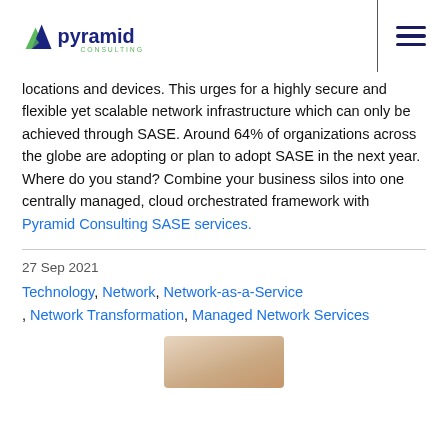[Figure (logo): Pyramid Consulting logo with green and blue mountain/triangle icon and company name]
locations and devices. This urges for a highly secure and flexible yet scalable network infrastructure which can only be achieved through SASE. Around 64% of organizations across the globe are adopting or plan to adopt SASE in the next year. Where do you stand? Combine your business silos into one centrally managed, cloud orchestrated framework with Pyramid Consulting SASE services.
27 Sep 2021
Technology, Network, Network-as-a-Service, Network Transformation, Managed Network Services